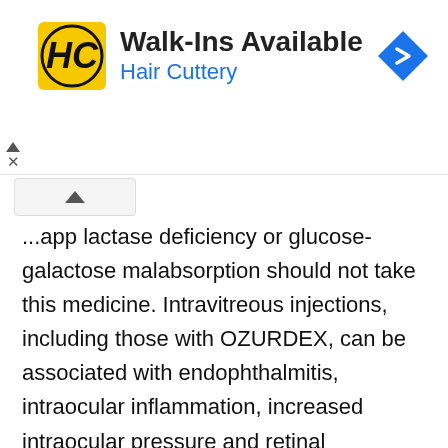[Figure (logo): Hair Cuttery advertisement banner with HC logo, text 'Walk-Ins Available / Hair Cuttery', and a blue navigation arrow icon]
...app lactase deficiency or glucose-galactose malabsorption should not take this medicine. Intravitreous injections, including those with OZURDEX, can be associated with endophthalmitis, intraocular inflammation, increased intraocular pressure and retinal detachment. Proper aseptic injection techniques must always be used. In addition, patients should be monitored following the injection to permit early treatment if an infection or increased intraocular pressure occurs. Monitoring may consist of a check for perfusion of the optic nerve head immediately after the injection, tonometry...